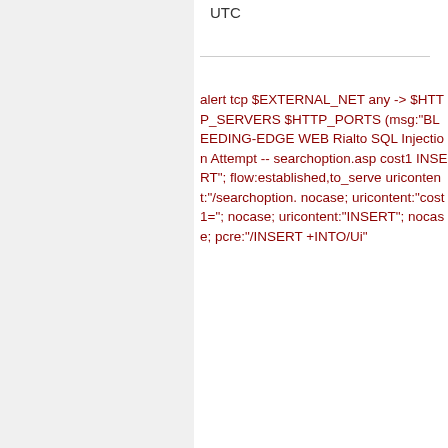UTC
alert tcp $EXTERNAL_NET any -> $HTTP_SERVERS $HTTP_PORTS (msg:"BLEEDING-EDGE WEB Rialto SQL Injection Attempt -- searchoption.asp cost1 INSERT"; flow:established,to_server; uricontent:"/searchoption.; nocase; uricontent:"cost1="; nocase; uricontent:"INSERT"; nocase; pcre:"/INSERT +INTO/Ui"